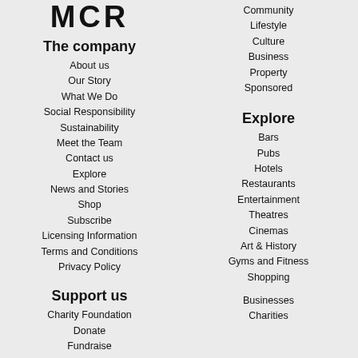[Figure (logo): MCR logo in bold serif/slab-serif letters]
The company
About us
Our Story
What We Do
Social Responsibility
Sustainability
Meet the Team
Contact us
Explore
News and Stories
Shop
Subscribe
Licensing Information
Terms and Conditions
Privacy Policy
Support us
Charity Foundation
Donate
Fundraise
Community
Lifestyle
Culture
Business
Property
Sponsored
Explore
Bars
Pubs
Hotels
Restaurants
Entertainment
Theatres
Cinemas
Art & History
Gyms and Fitness
Shopping
Businesses
Charities